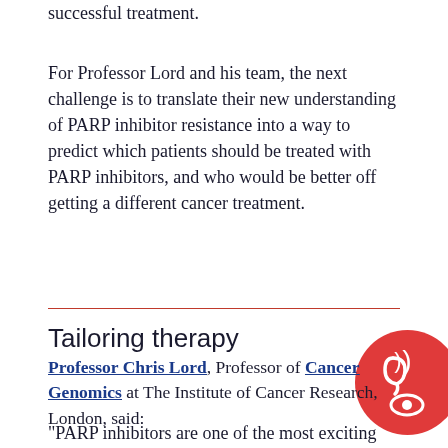successful treatment.
For Professor Lord and his team, the next challenge is to translate their new understanding of PARP inhibitor resistance into a way to predict which patients should be treated with PARP inhibitors, and who would be better off getting a different cancer treatment.
Tailoring therapy
Professor Chris Lord, Professor of Cancer Genomics at The Institute of Cancer Research, London, said:
“PARP inhibitors are one of the most exciting classes